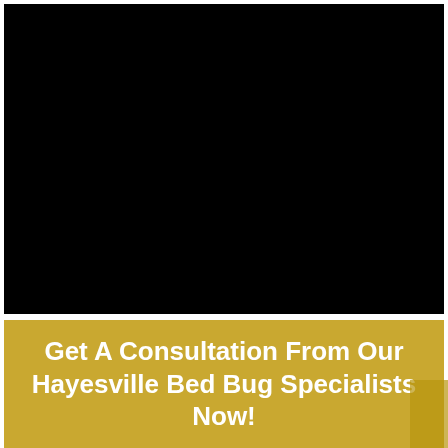[Figure (photo): Large black rectangular image area, contents not visible (dark/black photo placeholder)]
Get A Consultation From Our Hayesville Bed Bug Specialists Now!